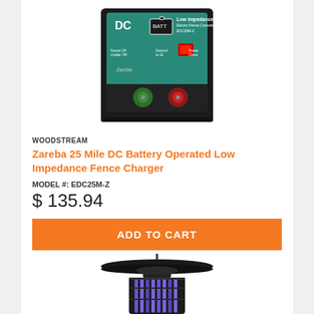[Figure (photo): Photo of Zareba 25 Mile DC Battery Operated Low Impedance Fence Charger device with green and teal front panel showing DC logo, battery icon, controls, and red/green terminal buttons.]
WOODSTREAM
Zareba 25 Mile DC Battery Operated Low Impedance Fence Charger
MODEL #: EDC25M-Z
$ 135.94
ADD TO CART
[Figure (photo): Bottom portion of a black bug zapper / mosquito trap device with a wide saucer-shaped top and vertical purple UV light tubes visible inside the lower cylindrical section.]